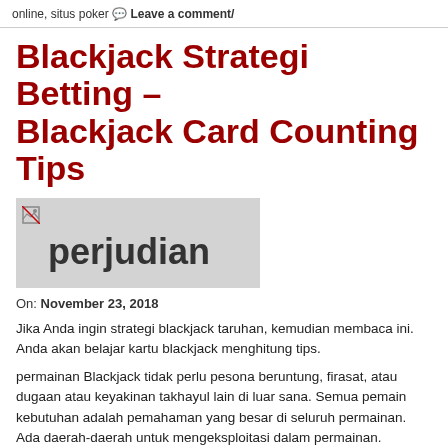online, situs poker 🗨 Leave a comment/
Blackjack Strategi Betting – Blackjack Card Counting Tips
[Figure (illustration): Grey placeholder image box with small broken image icon and text label 'perjudian']
On: November 23, 2018
Jika Anda ingin strategi blackjack taruhan, kemudian membaca ini. Anda akan belajar kartu blackjack menghitung tips.
permainan Blackjack tidak perlu pesona beruntung, firasat, atau dugaan atau keyakinan takhayul lain di luar sana. Semua pemain kebutuhan adalah pemahaman yang besar di seluruh permainan. Ada daerah-daerah untuk mengeksploitasi dalam permainan.
Hal ini baik pemain atau rumah poker88 alami. Sebuah alam berarti duapuluh satu pada pertama ditangani dua kartu. Seorang pemain